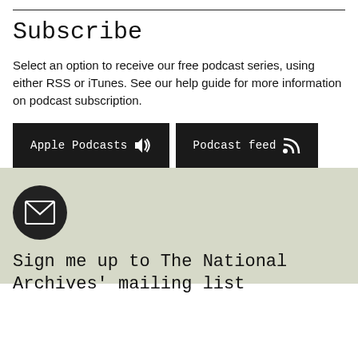Subscribe
Select an option to receive our free podcast series, using either RSS or iTunes. See our help guide for more information on podcast subscription.
[Figure (other): Two dark buttons: 'Apple Podcasts' with speaker icon, and 'Podcast feed' with RSS icon]
[Figure (other): Dark circular icon containing an envelope/mail symbol on a sage green background]
Sign me up to The National Archives' mailing list